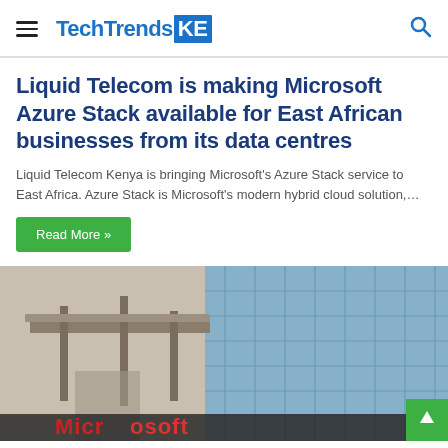TechTrendsKE
Liquid Telecom is making Microsoft Azure Stack available for East African businesses from its data centres
Liquid Telecom Kenya is bringing Microsoft's Azure Stack service to East Africa. Azure Stack is Microsoft's modern hybrid cloud solution,…
Read More »
[Figure (photo): Exterior of a Microsoft office building with glass facade and signage showing 'Microsoft' in red letters at the bottom]